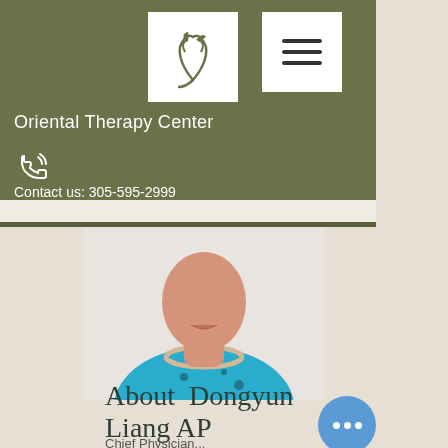[Figure (logo): Oriental Therapy Center logo: white plant/leaf icon with cursive script on white square background]
[Figure (other): Hamburger menu icon with three horizontal bars on white square background]
Oriental Therapy Center
[Figure (other): Phone/call icon in white]
Contact us: 305-595-2999
[Figure (photo): Portrait photo of Dongyun Liang AP DOM, woman wearing teal/blue blazer and pearl necklace, cropped showing neck and shoulders]
About  Dongyun Liang AP DOM.
Chief Physician...